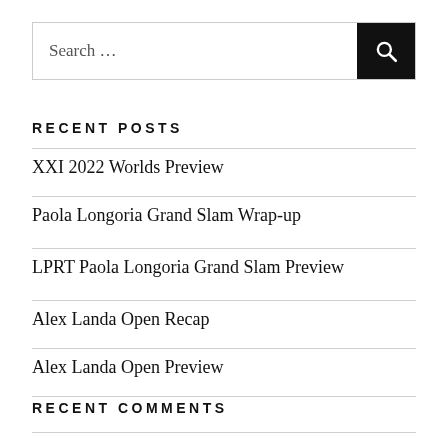Search …
RECENT POSTS
XXI 2022 Worlds Preview
Paola Longoria Grand Slam Wrap-up
LPRT Paola Longoria Grand Slam Preview
Alex Landa Open Recap
Alex Landa Open Preview
RECENT COMMENTS